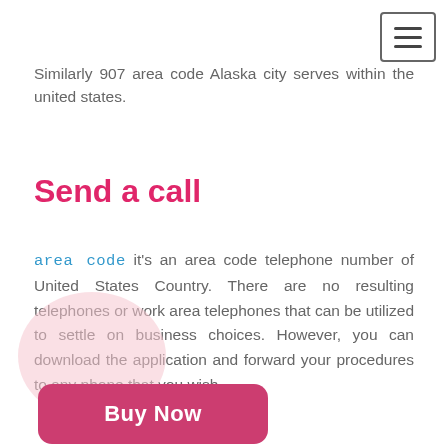Similarly 907 area code Alaska city serves within the united states.
Send a call
area code it's an area code telephone number of United States Country. There are no resulting telephones or work area telephones that can be utilized to settle on business choices. However, you can download the application and forward your procedures to any phone that you wish.
[Figure (illustration): Pink circle decorative element behind a Buy Now button]
Buy Now